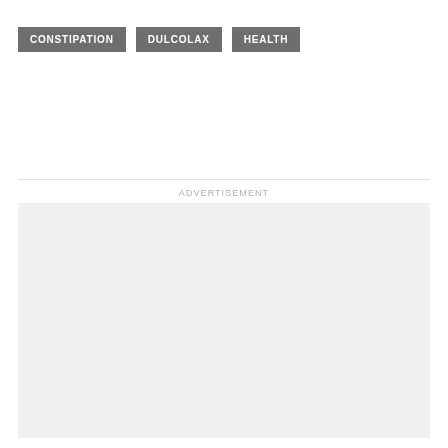CONSTIPATION
DULCOLAX
HEALTH
ADVERTISEMENT
[Figure (other): Advertisement placeholder box with light gray background]